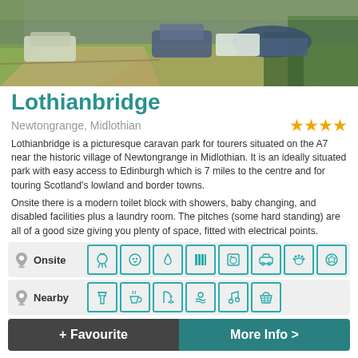[Figure (photo): Aerial/elevated view of a caravan park with motorhomes, cars, caravans, tents, and green grass areas]
Lothianbridge
Newtongrange, Midlothian
Lothianbridge is a picturesque caravan park for tourers situated on the A7 near the historic village of Newtongrange in Midlothian. It is an ideally situated park with easy access to Edinburgh which is 7 miles to the centre and for touring Scotland's lowland and border towns.
Onsite there is a modern toilet block with showers, baby changing, and disabled facilities plus a laundry room. The pitches (some hard standing) are all of a good size giving you plenty of space, fitted with electrical points.
Onsite: BBQ, electric hookup, water, toilets/showers, laundry, car parking, pets, sports
Nearby: bar, cafe, fishing, swimming, entertainment, shopping